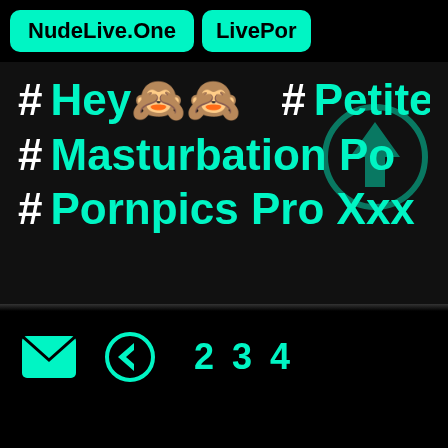[Figure (screenshot): Website navigation tabs showing NudeLive.One and LivePor... on cyan/teal buttons on black background]
# Hey🙈🙈
# Petite
# Masturbation Po
# Pornpics Pro Xxx
[Figure (other): Upload/scroll-up icon in teal circle, semi-transparent overlay]
[Figure (other): Bottom navigation bar with mail icon, back arrow icon, and page numbers 2 3 4]